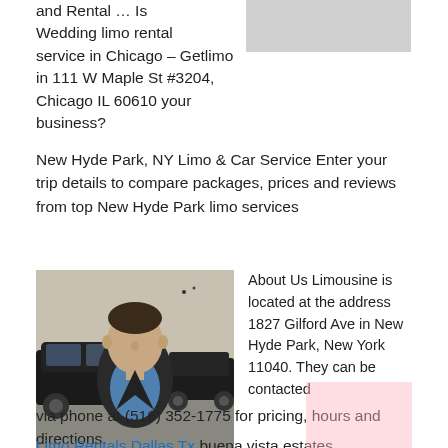and Rental ... Is Wedding limo rental service in Chicago – Getlimo in 111 W Maple St #3204, Chicago IL 60610 your business?
New Hyde Park, NY Limo & Car Service Enter your trip details to compare packages, prices and reviews from top New Hyde Park limo services
[Figure (photo): A man in a dark jacket and blue shirt standing in front of black limousine cars in a parking area. Yellow Pages (yp) badge in lower left corner.]
About Us Limousine is located at the address 1827 Gilford Ave in New Hyde Park, New York 11040. They can be contacted via phone at (516) 352-1775 for pricing, hours and directions.
Limo Rentals Dallas Tx buena vista estates Apartments for rent in Dallas ... and I-635 to take you anywhere in the